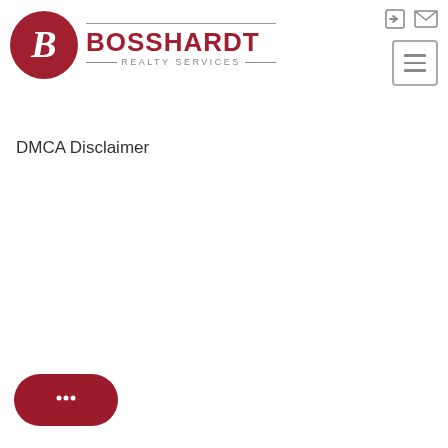[Figure (logo): Bosshardt Realty Services logo with red circle containing stylized B and red text BOSSHARDT with REALTY SERVICES subtitle in gray]
[Figure (other): Top-right header icons: login arrow and envelope mail icon, plus hamburger menu button]
DMCA Disclaimer
[Figure (other): Dark red rounded chat bubble button with three dots speech icon at bottom left of page]